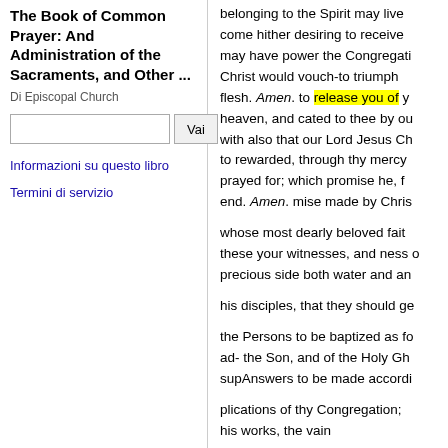The Book of Common Prayer: And Administration of the Sacraments, and Other ...
Di Episcopal Church
Informazioni su questo libro
Termini di servizio
belonging to the Spirit may live come hither desiring to receive may have power the Congregati Christ would vouch-to triumph flesh. Amen. to release you of y heaven, and cated to thee by ou with also that our Lord Jesus Ch to rewarded, through thy mercy prayed for; which promise he, f end. Amen. mise made by Chris whose most dearly beloved fait these your witnesses, and ness o precious side both water and an his disciples, that they should g the Persons to be baptized as fo ad- the Son, and of the Holy Gh supAnswers to be made accordi plications of thy Congregation; his works, the vain pomp that the Persons, now to washing "away of sin; and gran